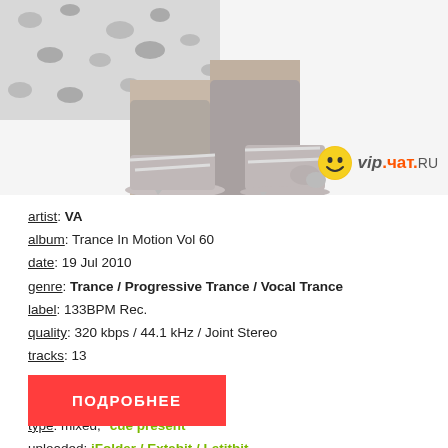[Figure (photo): Photo of a woman's legs wearing high-heel sandals with a leopard print skirt/dress, on white background. VIP.CHAT.RU logo with smiley face in top right area.]
artist: VA
album: Trance In Motion Vol 60
date: 19 Jul 2010
genre: Trance / Progressive Trance / Vocal Trance
label: 133BPM Rec.
quality: 320 kbps / 44.1 kHz / Joint Stereo
tracks: 13
lenght: 85:11 min
size: - 195,6 mb (rar)
type: mixed, *cue present
uploaded: iFolder / Extabit / Letitbit
ПОДРОБНЕЕ